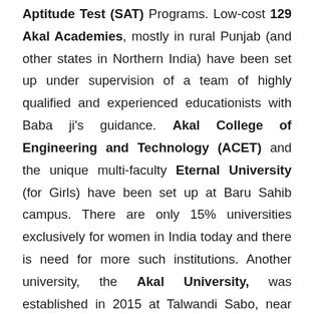Aptitude Test (SAT) Programs. Low-cost 129 Akal Academies, mostly in rural Punjab (and other states in Northern India) have been set up under supervision of a team of highly qualified and experienced educationists with Baba ji's guidance. Akal College of Engineering and Technology (ACET) and the unique multi-faculty Eternal University (for Girls) have been set up at Baru Sahib campus. There are only 15% universities exclusively for women in India today and there is need for more such institutions. Another university, the Akal University, was established in 2015 at Talwandi Sabo, near Bathinda, in Punjab. Marginalized 70,000 students are getting educated in these institutions who otherwise would have been exposed to drug abuse and neglect. In addition, more than 2000 rural girls are being given Free Teachers Training and Technology in Akal Academies...